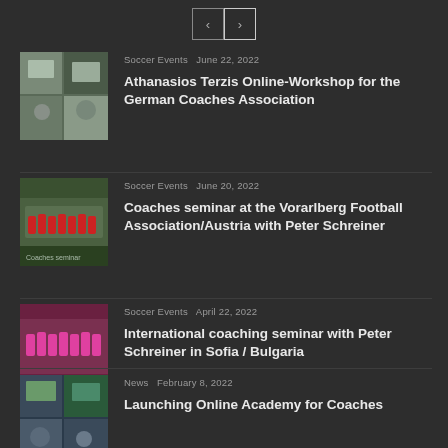[Figure (other): Pagination navigation with left and right arrow buttons]
[Figure (photo): Indoor soccer event photo collage]
Soccer Events  June 22, 2022
Athanasios Terzis Online-Workshop for the German Coaches Association
[Figure (photo): Team photo of soccer players in red uniforms outdoors]
Soccer Events  June 20, 2022
Coaches seminar at the Vorarlberg Football Association/Austria with Peter Schreiner
[Figure (photo): Group photo of soccer players in pink/red uniforms outdoors]
Soccer Events  April 22, 2022
International coaching seminar with Peter Schreiner in Sofia / Bulgaria
[Figure (photo): Collage of indoor coaching seminar photos]
News  February 8, 2022
Launching Online Academy for Coaches